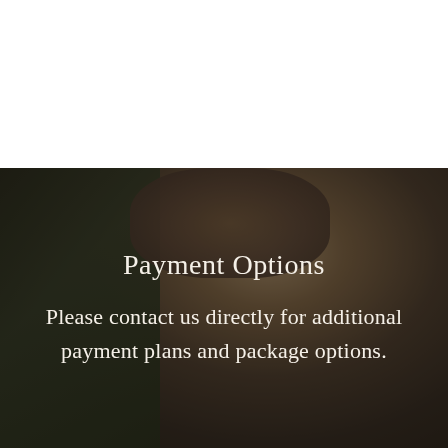[Figure (photo): Dark-toned photo of a woman with blonde hair wearing knitted wrist wraps/sleeves, sitting with hands folded, with green foliage in the lower left. The image is darkened with an overlay.]
Payment Options
Please contact us directly for additional payment plans and package options.